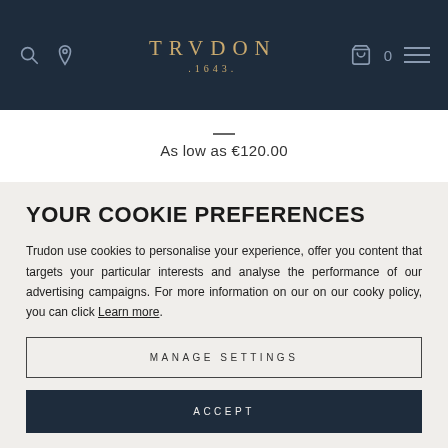TRUDON .1643. — navigation bar with search, location, bag (0), and menu icons
As low as €120.00
YOUR COOKIE PREFERENCES
Trudon use cookies to personalise your experience, offer you content that targets your particular interests and analyse the performance of our advertising campaigns. For more information on our on our cooky policy, you can click Learn more.
MANAGE SETTINGS
ACCEPT